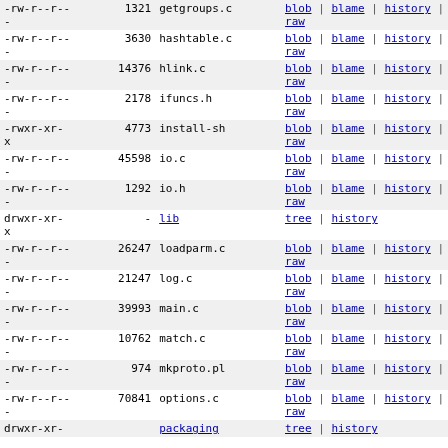| permissions | size | name | actions |
| --- | --- | --- | --- |
| -rw-r--r-- | 1321 | getgroups.c | blob | blame | history | raw |
| -rw-r--r-- | 3630 | hashtable.c | blob | blame | history | raw |
| -rw-r--r-- | 14376 | hlink.c | blob | blame | history | raw |
| -rw-r--r-- | 2178 | ifuncs.h | blob | blame | history | raw |
| -rwxr-xr-x | 4773 | install-sh | blob | blame | history | raw |
| -rw-r--r-- | 45598 | io.c | blob | blame | history | raw |
| -rw-r--r-- | 1292 | io.h | blob | blame | history | raw |
| drwxr-xr-x | - | lib | tree | history |
| -rw-r--r-- | 26247 | loadparm.c | blob | blame | history | raw |
| -rw-r--r-- | 21247 | log.c | blob | blame | history | raw |
| -rw-r--r-- | 39993 | main.c | blob | blame | history | raw |
| -rw-r--r-- | 10762 | match.c | blob | blame | history | raw |
| -rw-r--r-- | 974 | mkproto.pl | blob | blame | history | raw |
| -rw-r--r-- | 70841 | options.c | blob | blame | history | raw |
| drwxr-xr- |  | packaging | tree | history |